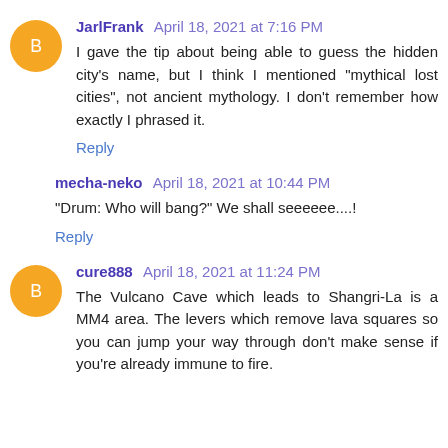JarlFrank April 18, 2021 at 7:16 PM
I gave the tip about being able to guess the hidden city's name, but I think I mentioned "mythical lost cities", not ancient mythology. I don't remember how exactly I phrased it.
Reply
mecha-neko April 18, 2021 at 10:44 PM
"Drum: Who will bang?" We shall seeeeee....!
Reply
cure888 April 18, 2021 at 11:24 PM
The Vulcano Cave which leads to Shangri-La is a MM4 area. The levers which remove lava squares so you can jump your way through don't make sense if you're already immune to fire.